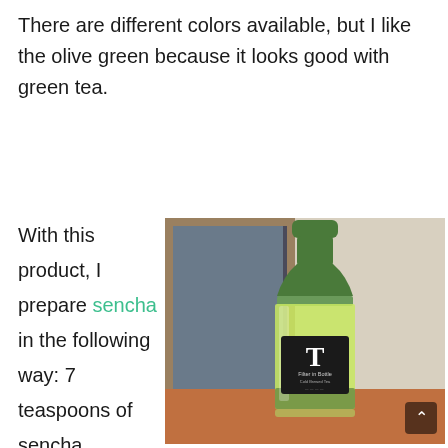There are different colors available, but I like the olive green because it looks good with green tea.
With this product, I prepare sencha in the following way: 7 teaspoons of sencha
[Figure (photo): An olive green Hario Filter-in Bottle containing green sencha tea, sitting on a wooden table next to a framed window. The bottle has a dark label with a large 'T' and text reading 'Filter in Bottle' and 'Cold Brewed Tea'.]